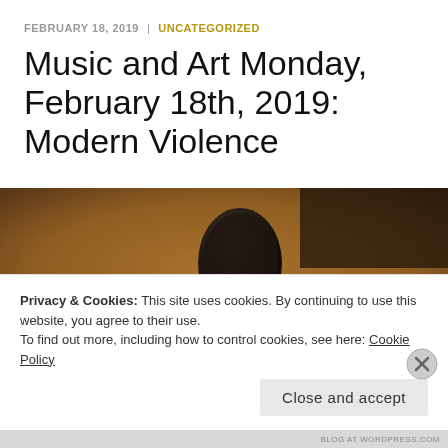FEBRUARY 18, 2019 | UNCATEGORIZED
Music and Art Monday, February 18th, 2019: Modern Violence
[Figure (photo): Dark, moody photograph of what appears to be a dark cylindrical or spherical object against a warm brown textured background]
Privacy & Cookies: This site uses cookies. By continuing to use this website, you agree to their use.
To find out more, including how to control cookies, see here: Cookie Policy
Close and accept